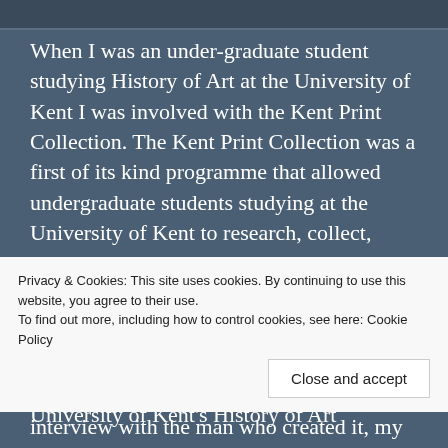[Figure (photo): Partial photo strip visible at top of page, cropped]
When I was an under-graduate student studying History of Art at the University of Kent I was involved with the Kent Print Collection. The Kent Print Collection was a first of its kind programme that allowed undergraduate students studying at the University of Kent to research, collect, purchase prints and then to curate, catalogue and put together a public exhibition. As one of the first students involved in this project, I participated in it as an extra-curricular activity but it now forms a core part of the University of Kent's History of Art
Privacy & Cookies: This site uses cookies. By continuing to use this website, you agree to their use.
To find out more, including how to control cookies, see here: Cookie Policy
Close and accept
interview with the man who created it, my tutor Dr